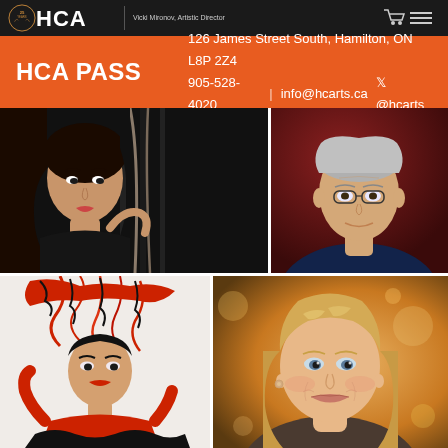HCA — 25 Years — Vicki Mironov, Artistic Director
HCA PASS   126 James Street South, Hamilton, ON L8P 2Z4   905-528-4020 | info@hcarts.ca @hcarts
[Figure (photo): Four performer/artist headshots arranged in a 2x2 grid. Top-left: woman in dark top holding ropes against a dark background. Top-right: bespectacled man in dark jacket against a red background. Bottom-left: woman in dramatic red and black costume with large headdress against white background. Bottom-right: mature blonde woman smiling against warm bokeh background.]